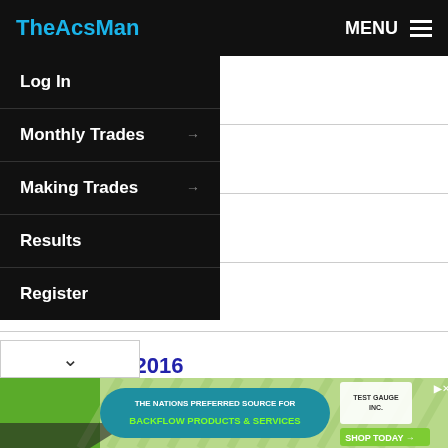TheAcsMan | MENU
Log In
Monthly Trades
Making Trades
Results
Register
> 017
> 17
> 2016
> November 2016
> October 2016
> September 2016
> August 2016
> July 2016
[Figure (screenshot): Ad banner: Test Gauge Inc. — THE NATIONS PREFERRED SOURCE FOR BACKFLOW PRODUCTS & SERVICES — SHOP TODAY]
THE NATIONS PREFERRED SOURCE FOR BACKFLOW PRODUCTS & SERVICES — SHOP TODAY